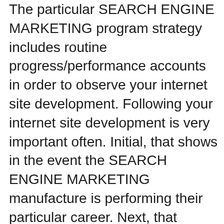The particular SEARCH ENGINE MARKETING program strategy includes routine progress/performance accounts in order to observe your internet site development. Following your internet site development is very important often. Initial, that shows in the event the SEARCH ENGINE MARKETING manufacture is performing their particular career. Next, that informs you in the event the SEARCH ENGINE MARKETING strategies, method, and also approach will be functioning or perhaps not necessarily. Next, that informs you just how properly the major search engines are usually reciprocating the SEARCH ENGINE MARKETING endeavours. Not only that, that informs you simply how much development will be produced and also with just what fee. This superior credit